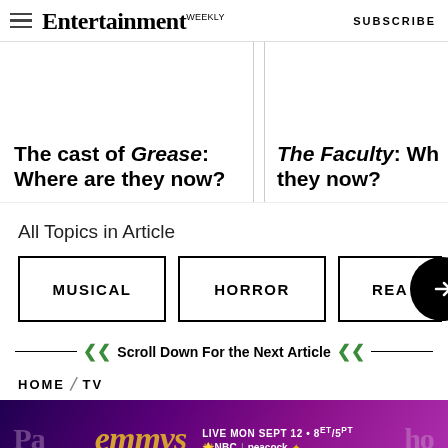Entertainment Weekly — SUBSCRIBE
The cast of Grease: Where are they now?
The Faculty: Where are they now?
All Topics in Article
MUSICAL
HORROR
REA
Scroll Down For the Next Article
HOME / TV
[Figure (other): Emmys advertisement banner: LIVE MON SEPT 12 • 8ET/5PT NBC | peacock]